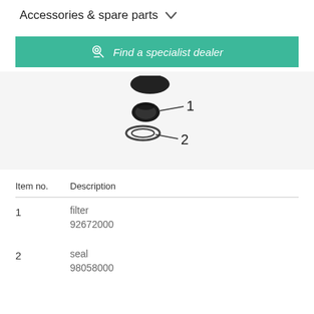Accessories & spare parts
Find a specialist dealer
[Figure (engineering-diagram): Parts diagram showing two components labeled 1 (filter) and 2 (seal), with lines pointing from the numbered labels to the respective parts.]
| Item no. | Description |
| --- | --- |
| 1 | filter
92672000 |
| 2 | seal
98058000 |